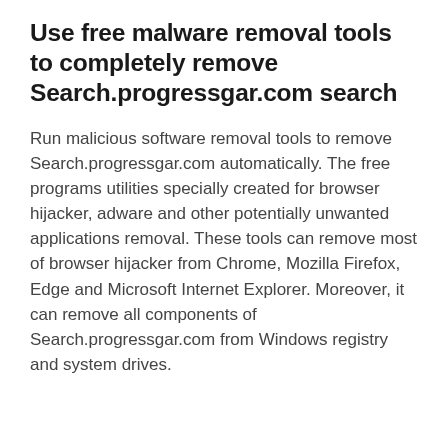Use free malware removal tools to completely remove Search.progressgar.com search
Run malicious software removal tools to remove Search.progressgar.com automatically. The free programs utilities specially created for browser hijacker, adware and other potentially unwanted applications removal. These tools can remove most of browser hijacker from Chrome, Mozilla Firefox, Edge and Microsoft Internet Explorer. Moreover, it can remove all components of Search.progressgar.com from Windows registry and system drives.